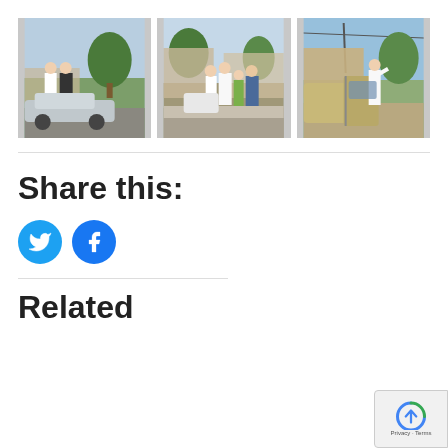[Figure (photo): Three outdoor photos showing people (clergy in white robes) near cars in a suburban setting. Left: two people near a silver car with trees. Middle: three people on a sidewalk near a white car. Right: person near a gold/tan car door.]
Share this:
[Figure (logo): Twitter bird icon (blue circle) and Facebook 'f' icon (blue circle) — social share buttons]
Related